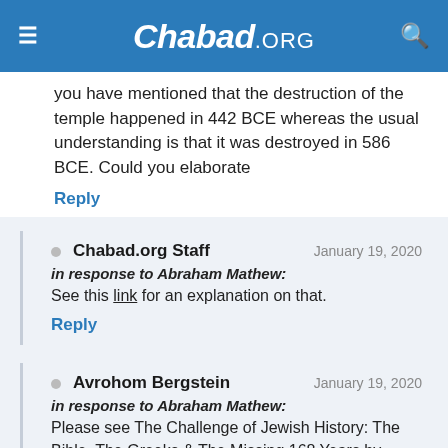Chabad.ORG
you have mentioned that the destruction of the temple happened in 442 BCE whereas the usual understanding is that it was destroyed in 586 BCE. Could you elaborate
Reply
Chabad.org Staff — January 19, 2020
in response to Abraham Mathew:
See this link for an explanation on that.
Reply
Avrohom Bergstein — January 19, 2020
in response to Abraham Mathew:
Please see The Challenge of Jewish History: The Bible, The Greeks & The Missing 168 Years by Rabbi Alexander Hool